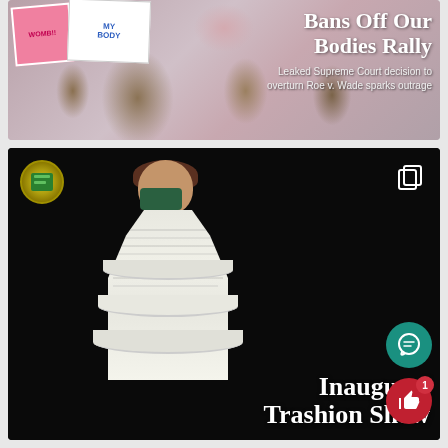[Figure (photo): Photo of protest rally crowd with people holding signs including a pink 'WOMB!!' sign and a white sign. Overlaid with bold white serif text reading 'Bans Off Our Bodies Rally' and subtitle 'Leaked Supreme Court decision to overturn Roe v. Wade sparks outrage']
Bans Off Our Bodies Rally
Leaked Supreme Court decision to overturn Roe v. Wade sparks outrage
[Figure (photo): Dark background photo of a person wearing a mask and a tiered white newspaper/trash dress on a stage. Bottom right shows text 'Inaugural Trashion Show'. Top left has a circular green newspaper logo icon. Top right has a copy/layers icon. Bottom right has a teal chat bubble button and a red like button with badge showing '1'.]
Inaugural Trashion Show